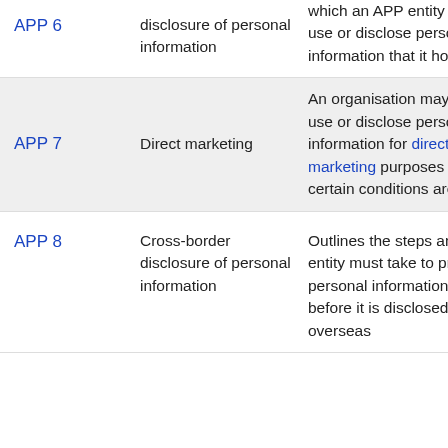| APP | Topic | Description |
| --- | --- | --- |
| APP 6 | disclosure of personal information | which an APP entity may use or disclose personal information that it holds. |
| APP 7 | Direct marketing | An organisation may only use or disclose personal information for direct marketing purposes if certain conditions are met. |
| APP 8 | Cross-border disclosure of personal information | Outlines the steps an APP entity must take to protect personal information before it is disclosed overseas |